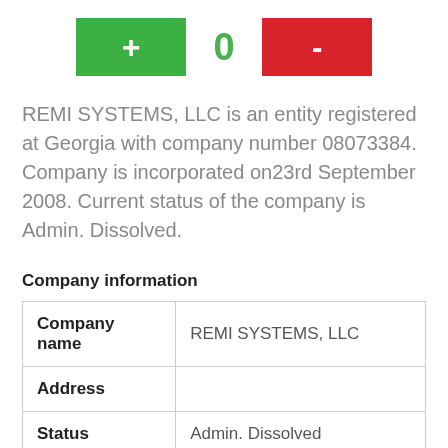[Figure (infographic): UI counter widget with green plus button, zero counter, and red minus button]
REMI SYSTEMS, LLC is an entity registered at Georgia with company number 08073384. Company is incorporated on23rd September 2008. Current status of the company is Admin. Dissolved.
Company information
| Company name | REMI SYSTEMS, LLC |
| --- | --- |
| Address |  |
| Status | Admin. Dissolved |